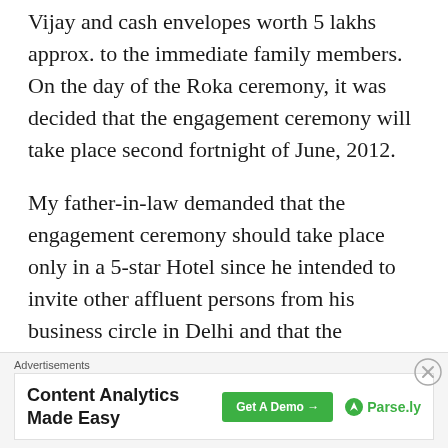Vijay and cash envelopes worth 5 lakhs approx. to the immediate family members. On the day of the Roka ceremony, it was decided that the engagement ceremony will take place second fortnight of June, 2012.
My father-in-law demanded that the engagement ceremony should take place only in a 5-star Hotel since he intended to invite other affluent persons from his business circle in Delhi and that the ceremony should be in keeping with their status. After making inquiries, my father
Advertisements
Content Analytics Made Easy | Get A Demo → | Parse.ly